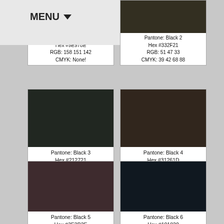MENU
[Figure (infographic): Color swatch card: Pantone Black 0961, Hex #9E978E, RGB: 158 151 142, CMYK: None!]
[Figure (infographic): Color swatch card: Pantone Black 2, Hex #332F21, RGB: 51 47 33, CMYK: 39 42 68 88]
[Figure (infographic): Color swatch card: Pantone Black 3, Hex #212721, RGB: 33 39 33, CMYK: 72 46 56 95]
[Figure (infographic): Color swatch card: Pantone Black 4, Hex #31261D, RGB: 49 38 29, CMYK: 40 53 59 89]
[Figure (infographic): Color swatch card: Pantone Black 5, Hex #3E2B2E]
[Figure (infographic): Color swatch card: Pantone Black 6, Hex #101820]